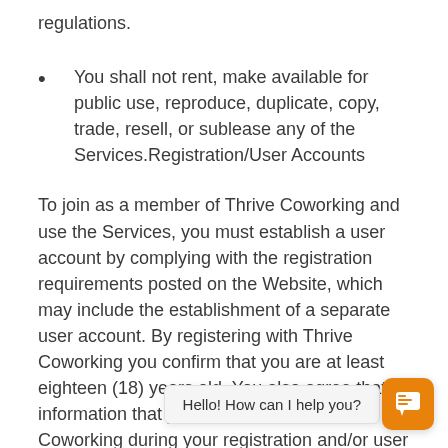regulations.
You shall not rent, make available for public use, reproduce, duplicate, copy, trade, resell, or sublease any of the Services.Registration/User Accounts
To join as a member of Thrive Coworking and use the Services, you must establish a user account by complying with the registration requirements posted on the Website, which may include the establishment of a separate user account. By registering with Thrive Coworking you confirm that you are at least eighteen (18) years old. You also agree that all information that you provide to Thrive Coworking during your registration and/or user account is true and accurate. You shall be solely responsible for